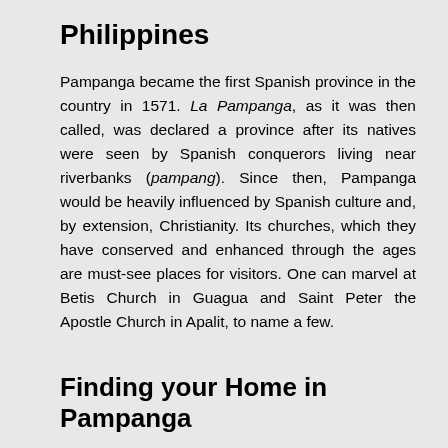Philippines
Pampanga became the first Spanish province in the country in 1571. La Pampanga, as it was then called, was declared a province after its natives were seen by Spanish conquerors living near riverbanks (pampang). Since then, Pampanga would be heavily influenced by Spanish culture and, by extension, Christianity. Its churches, which they have conserved and enhanced through the ages are must-see places for visitors. One can marvel at Betis Church in Guagua and Saint Peter the Apostle Church in Apalit, to name a few.
Finding your Home in Pampanga